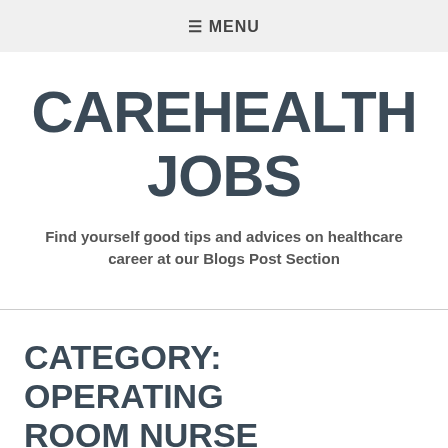≡ MENU
CAREHEALTH JOBS
Find yourself good tips and advices on healthcare career at our Blogs Post Section
CATEGORY: OPERATING ROOM NURSE